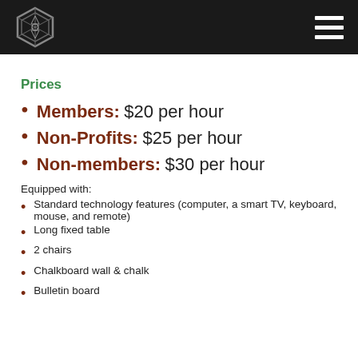[Figure (logo): Hexagonal geometric logo on dark header bar with hamburger menu icon]
Prices
Members: $20 per hour
Non-Profits: $25 per hour
Non-members: $30 per hour
Equipped with:
Standard technology features (computer, a smart TV, keyboard, mouse, and remote)
Long fixed table
2 chairs
Chalkboard wall & chalk
Bulletin board